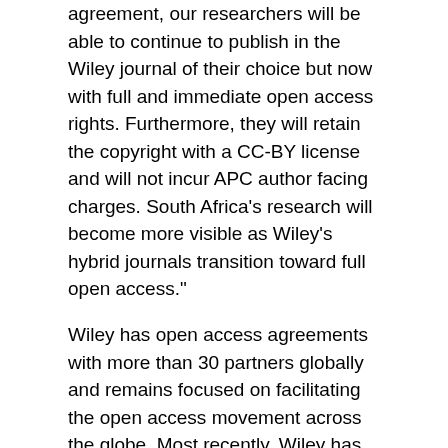agreement, our researchers will be able to continue to publish in the Wiley journal of their choice but now with full and immediate open access rights. Furthermore, they will retain the copyright with a CC-BY license and will not incur APC author facing charges. South Africa's research will become more visible as Wiley's hybrid journals transition toward full open access."
Wiley has open access agreements with more than 30 partners globally and remains focused on facilitating the open access movement across the globe. Most recently, Wiley has partnered with institutions including the National Research Council of Science & Technology in the Republic of Korea, the Royal Danish Library, and the University of California to deliver more open access research and facilitate an open future.
About Wiley
Wiley is a global leader in research and education, unlocking human potential by enabling discovery, powering education, and shaping workforces. For over 200 years, Wiley has fuelled the world's knowledge ecosystem. Today, our high-impact content, platforms, and services help researchers, learners, institutions, and corporations achieve their goals in an ever-changing world. Visit us at Wiley.com, like us on Facebook and